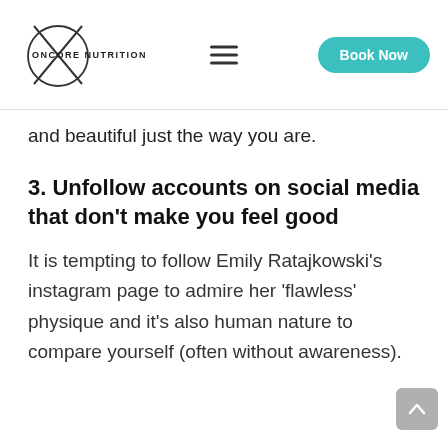ONCORE NUTRITION | [hamburger menu] | Book Now
and beautiful just the way you are.
3. Unfollow accounts on social media that don't make you feel good
It is tempting to follow Emily Ratajkowski's instagram page to admire her 'flawless' physique and it's also human nature to compare yourself (often without awareness).